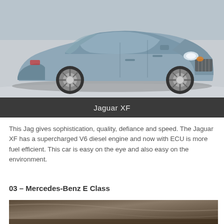[Figure (photo): Photo of a silver-blue Jaguar XF sedan at what appears to be an auto show, front three-quarter view showing the front grille, headlights, and alloy wheels on a white floor]
Jaguar XF
This Jag gives sophistication, quality, defiance and speed. The Jaguar XF has a supercharged V6 diesel engine and now with ECU is more fuel efficient. This car is easy on the eye and also easy on the environment.
03 – Mercedes-Benz E Class
[Figure (photo): Partial photo of a Mercedes-Benz E Class car, showing a close-up motion-blurred or artistic shot of the vehicle body]